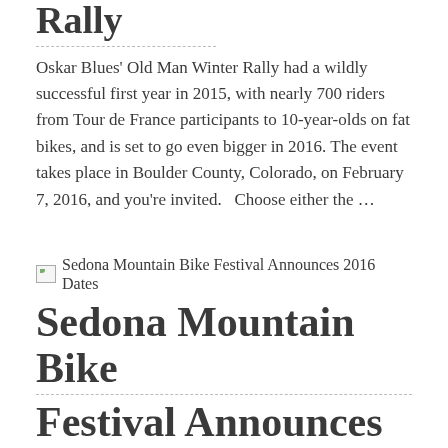Rally
Oskar Blues' Old Man Winter Rally had a wildly successful first year in 2015, with nearly 700 riders from Tour de France participants to 10-year-olds on fat bikes, and is set to go even bigger in 2016. The event takes place in Boulder County, Colorado, on February 7, 2016, and you're invited.   Choose either the …
[Figure (other): Broken image placeholder for Sedona Mountain Bike Festival Announces 2016 Dates]
Sedona Mountain Bike Festival Announces 2016 Dates
Kick off spring next year with a trip to the Sedona Mountain Bike Festival in Arizona the weekend of March 4-6, 2016. Last year, we thoroughly enjoyed our trip to the inaugural edition of